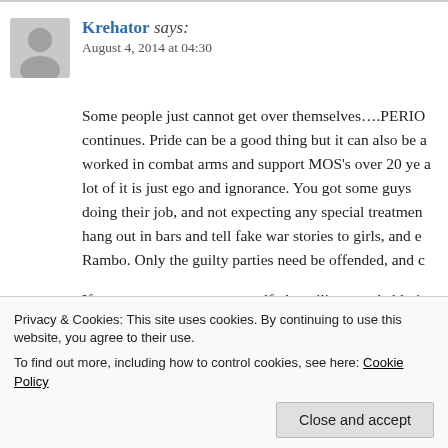[Figure (illustration): Grey silhouette avatar icon of a person]
Krehator says: August 4, 2014 at 04:30
Some people just cannot get over themselves….PERIO continues. Pride can be a good thing but it can also be a worked in combat arms and support MOS's over 20 ye a lot of it is just ego and ignorance. You got some guys doing their job, and not expecting any special treatmen hang out in bars and tell fake war stories to girls, and e Rambo. Only the guilty parties need be offended, and c
If you cannot get over yourself, the military probably is
Privacy & Cookies: This site uses cookies. By continuing to use this website, you agree to their use.
To find out more, including how to control cookies, see here: Cookie Policy
Close and accept